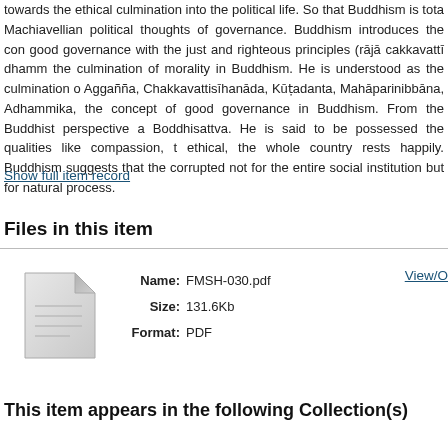towards the ethical culmination into the political life. So that Buddhism is tota Machiavellian political thoughts of governance. Buddhism introduces the con good governance with the just and righteous principles (rājā cakkavattī dhamm the culmination of morality in Buddhism. He is understood as the culmination o Aggañña, Chakkavattisīhanāda, Kūṭadanta, Mahāparinibbāna, Adhammika, the concept of good governance in Buddhism. From the Buddhist perspective a Boddhisattva. He is said to be possessed the qualities like compassion, t ethical, the whole country rests happily. Buddhism suggests that the corrupted not for the entire social institution but for natural process.
Show full item record
Files in this item
[Figure (illustration): Generic file/document icon - grey folded-corner paper icon]
Name: FMSH-030.pdf
Size: 131.6Kb
Format: PDF
View/O
This item appears in the following Collection(s)